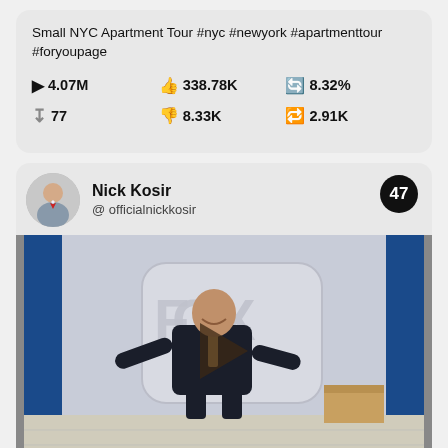Small NYC Apartment Tour #nyc #newyork #apartmenttour #foryoupage
▶ 4.07M   👍338.78K   🔄8.32%   ⬇77   👎8.33K   🔁2.91K
Nick Kosir @ officialnickkosir — badge: 47
[Figure (screenshot): TikTok/social media analytics card showing video stats: 4.07M plays, 338.78K likes, 8.32% engagement ratio, 77 saves, 8.33K dislikes, 2.91K shares. Post text: Small NYC Apartment Tour #nyc #newyork #apartmenttour #foryoupage]
[Figure (screenshot): Social media post card for Nick Kosir (@officialnickkosir) with badge number 47, showing a video thumbnail of a man in a suit dancing in front of a Fox Weather studio backdrop with a play button overlay.]